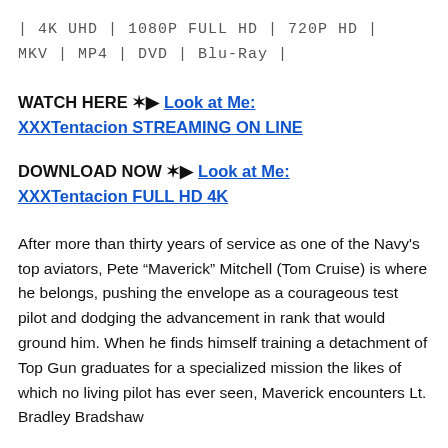| 4K UHD | 1080P FULL HD | 720P HD | MKV | MP4 | DVD | Blu-Ray |
WATCH HERE ✶▶ Look at Me: XXXTentacion STREAMING ON LINE
DOWNLOAD NOW ✶▶ Look at Me: XXXTentacion FULL HD 4K
After more than thirty years of service as one of the Navy's top aviators, Pete “Maverick” Mitchell (Tom Cruise) is where he belongs, pushing the envelope as a courageous test pilot and dodging the advancement in rank that would ground him. When he finds himself training a detachment of Top Gun graduates for a specialized mission the likes of which no living pilot has ever seen, Maverick encounters Lt. Bradley Bradshaw